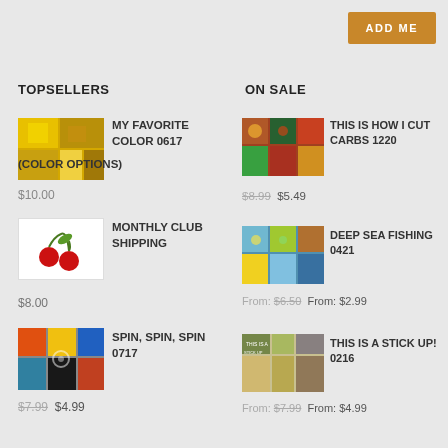ADD ME
TOPSELLERS
ON SALE
[Figure (photo): Product image for My Favorite Color 0617 - yellow/orange block colors]
MY FAVORITE COLOR 0617 (COLOR OPTIONS)
$10.00
[Figure (photo): Product image for This Is How I Cut Carbs 1220 - colorful patchwork]
THIS IS HOW I CUT CARBS 1220
$8.99  $5.49
[Figure (illustration): Cherry illustration for Monthly Club Shipping]
MONTHLY CLUB SHIPPING
$8.00
[Figure (photo): Product image for Deep Sea Fishing 0421 - colorful squares]
DEEP SEA FISHING 0421
From: $6.50  From: $2.99
[Figure (photo): Product image for Spin Spin Spin 0717 - colorful blocks]
SPIN, SPIN, SPIN 0717
$7.99  $4.99
[Figure (photo): Product image for This Is A Stick Up! 0216 - green and brown patches]
THIS IS A STICK UP! 0216
From: $7.99  From: $4.99